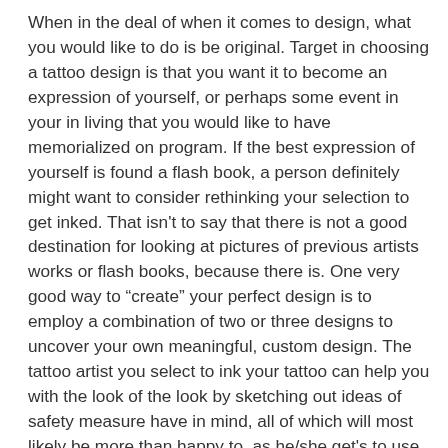When in the deal of when it comes to design, what you would like to do is be original. Target in choosing a tattoo design is that you want it to become an expression of yourself, or perhaps some event in your in living that you would like to have memorialized on program. If the best expression of yourself is found a flash book, a person definitely might want to consider rethinking your selection to get inked. That isn't to say that there is not a good destination for looking at pictures of previous artists works or flash books, because there is. One very good way to “create” your perfect design is to employ a combination of two or three designs to uncover your own meaningful, custom design. The tattoo artist you select to ink your tattoo can help you with the look of the look by sketching out ideas of safety measure have in mind, all of which will most likely be more than happy to, as he/she get's to use their creative talents.